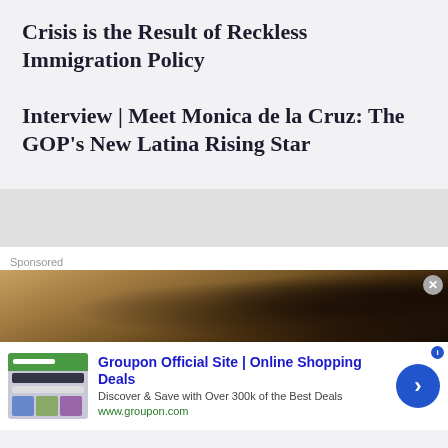Crisis is the Result of Reckless Immigration Policy
Interview | Meet Monica de la Cruz: The GOP's New Latina Rising Star
Sponsored
[Figure (photo): A sandy/earthy textured image showing what appears to be sandals or shoes on a sandy surface]
Groupon Official Site | Online Shopping Deals
Discover & Save with Over 300k of the Best Deals
www.groupon.com